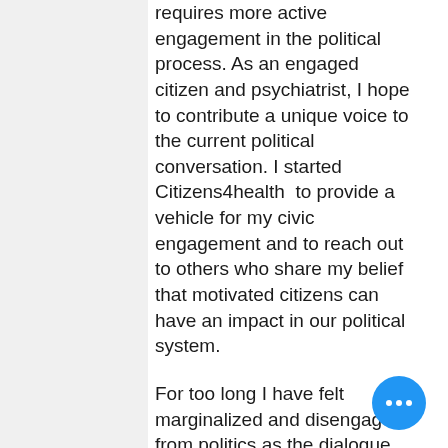requires more active engagement in the political process. As an engaged citizen and psychiatrist, I hope to contribute a unique voice to the current political conversation. I started Citizens4health  to provide a vehicle for my civic engagement and to reach out to others who share my belief that motivated citizens can have an impact in our political system.

For too long I have felt marginalized and disengaged from politics as the dialogue has become more and more partisan, answering to the demands of extreme constituencies on the left and right. Citizenship requires a basic understanding of the